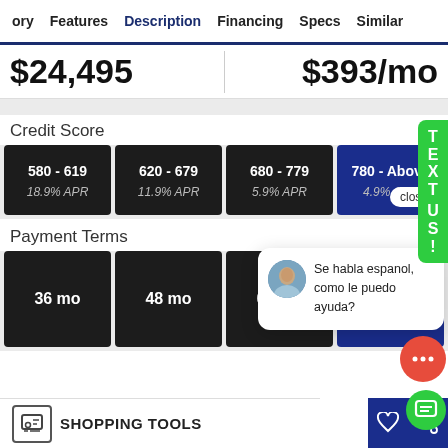ory  Features  Description  Financing  Specs  Similar
$24,495
$393/mo
Credit Score
580 - 619
18.9% APR
620 - 679
11.9% APR
680 - 779
5.9% APR
780 - Above
4.9% APR
Payment Terms
36 mo
48 mo
60 mo
Se habla espanol, como le puedo ayuda?
close
SHOPPING TOOLS